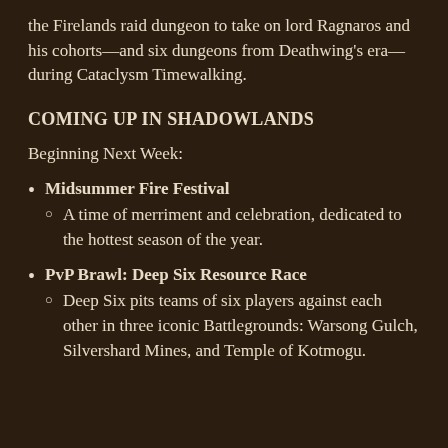the Firelands raid dungeon to take on lord Ragnaros and his cohorts—and six dungeons from Deathwing's era— during Cataclysm Timewalking.
COMING UP IN SHADOWLANDS
Beginning Next Week:
Midsummer Fire Festival
A time of merriment and celebration, dedicated to the hottest season of the year.
PvP Brawl: Deep Six Resource Race
Deep Six pits teams of six players against each other in three iconic Battlegrounds: Warsong Gulch, Silvershard Mines, and Temple of Kotmogu.